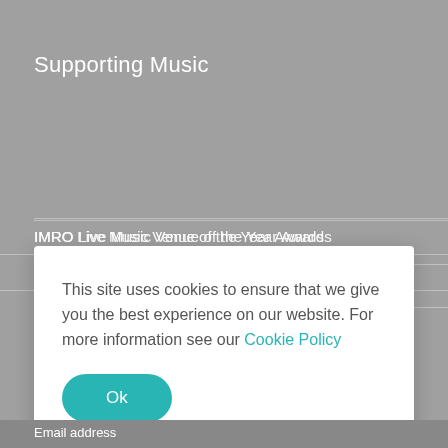Supporting Music
IMRO Live Music Venue of the Year Awards
IMRO Tune-Up Your Business Award
IMRO Academy
IMRO Seminars & Workshops
IMRO Music for Film & TV
Sponsorships & Partnerships
This site uses cookies to ensure that we give you the best experience on our website. For more information see our Cookie Policy
Ok
Email address